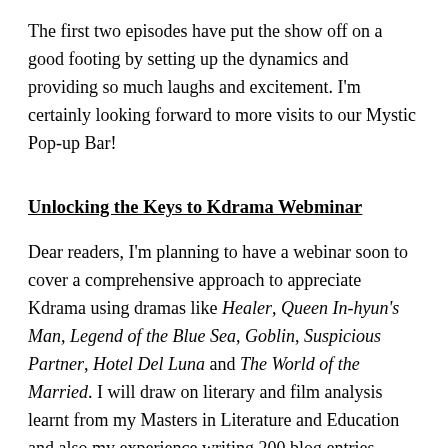The first two episodes have put the show off on a good footing by setting up the dynamics and providing so much laughs and excitement. I'm certainly looking forward to more visits to our Mystic Pop-up Bar!
Unlocking the Keys to Kdrama Webminar
Dear readers, I'm planning to have a webinar soon to cover a comprehensive approach to appreciate Kdrama using dramas like Healer, Queen In-hyun's Man, Legend of the Blue Sea, Goblin, Suspicious Partner, Hotel Del Luna and The World of the Married. I will draw on literary and film analysis learnt from my Masters in Literature and Education and also my experience writing 200 blog entries.
If you are interested, do indicate your interest by clicking